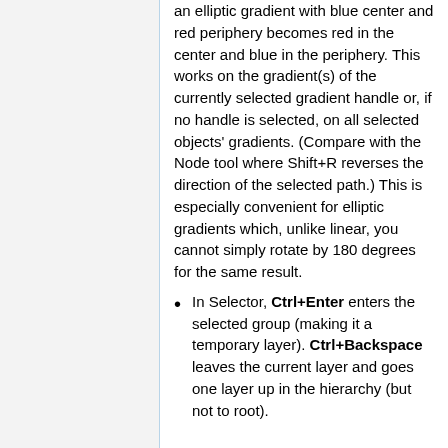an elliptic gradient with blue center and red periphery becomes red in the center and blue in the periphery. This works on the gradient(s) of the currently selected gradient handle or, if no handle is selected, on all selected objects' gradients. (Compare with the Node tool where Shift+R reverses the direction of the selected path.) This is especially convenient for elliptic gradients which, unlike linear, you cannot simply rotate by 180 degrees for the same result.
In Selector, Ctrl+Enter enters the selected group (making it a temporary layer). Ctrl+Backspace leaves the current layer and goes one layer up in the hierarchy (but not to root).